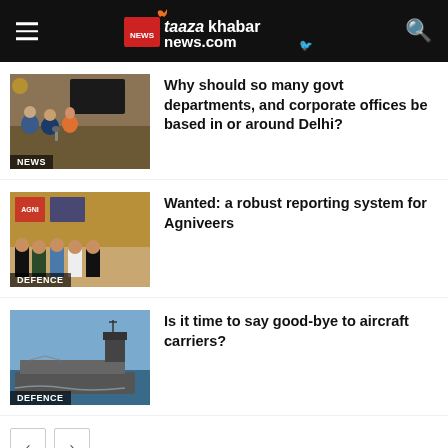taazakhabar news.com
[Figure (photo): Group of people at a government meeting room with a screen behind them. Label: NEWS]
Why should so many govt departments, and corporate offices be based in or around Delhi?
[Figure (photo): Defence event with officials in uniform standing on a stage. Label: DEFENCE]
Wanted: a robust reporting system for Agniveers
[Figure (photo): Aircraft carrier warship at sea. Label: DEFENCE]
Is it time to say good-bye to aircraft carriers?